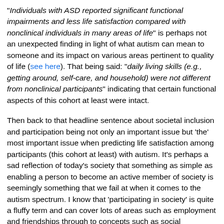"Individuals with ASD reported significant functional impairments and less life satisfaction compared with nonclinical individuals in many areas of life" is perhaps not an unexpected finding in light of what autism can mean to someone and its impact on various areas pertinent to quality of life (see here). That being said: "daily living skills (e.g., getting around, self-care, and household) were not different from nonclinical participants" indicating that certain functional aspects of this cohort at least were intact.
Then back to that headline sentence about societal inclusion and participation being not only an important issue but 'the' most important issue when predicting life satisfaction among participants (this cohort at least) with autism. It's perhaps a sad reflection of today's society that something as simple as enabling a person to become an active member of society is seemingly something that we fail at when it comes to the autism spectrum. I know that 'participating in society' is quite a fluffy term and can cover lots of areas such as employment and friendships through to concepts such as social responsibilities, but surely there must be ways and means that aspects of inclusion can be engineered into plans so...